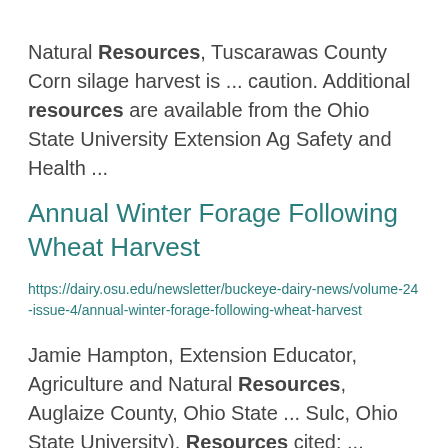Natural Resources, Tuscarawas County Corn silage harvest is ... caution. Additional resources are available from the Ohio State University Extension Ag Safety and Health ...
Annual Winter Forage Following Wheat Harvest
https://dairy.osu.edu/newsletter/buckeye-dairy-news/volume-24-issue-4/annual-winter-forage-following-wheat-harvest
Jamie Hampton, Extension Educator, Agriculture and Natural Resources, Auglaize County, Ohio State ... Sulc, Ohio State University). Resources cited: ...